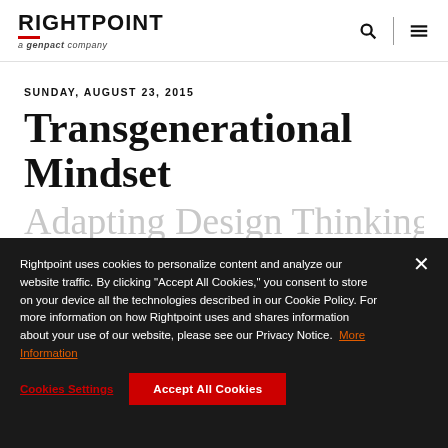RIGHTPOINT a genpact company
SUNDAY, AUGUST 23, 2015
Transgenerational Mindset
Adapting Design Thinking
Rightpoint uses cookies to personalize content and analyze our website traffic. By clicking "Accept All Cookies," you consent to store on your device all the technologies described in our Cookie Policy. For more information on how Rightpoint uses and shares information about your use of our website, please see our Privacy Notice. More Information
Cookies Settings
Accept All Cookies